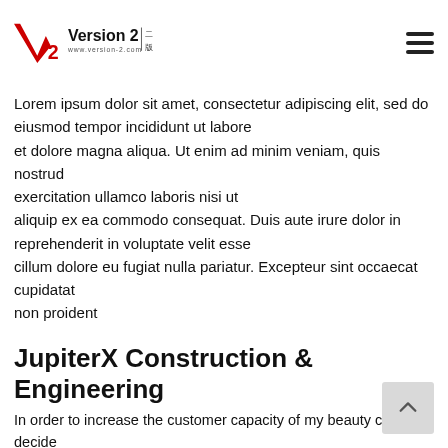Version 2 www.version-2.com
Lorem ipsum dolor sit amet, consectetur adipiscing elit, sed do eiusmod tempor incididunt ut labore et dolore magna aliqua. Ut enim ad minim veniam, quis nostrud exercitation ullamco laboris nisi ut aliquip ex ea commodo consequat. Duis aute irure dolor in reprehenderit in voluptate velit esse cillum dolore eu fugiat nulla pariatur. Excepteur sint occaecat cupidatat non proident
JupiterX Construction & Engineering
In order to increase the customer capacity of my beauty centre, I decide to work with JupiterX and